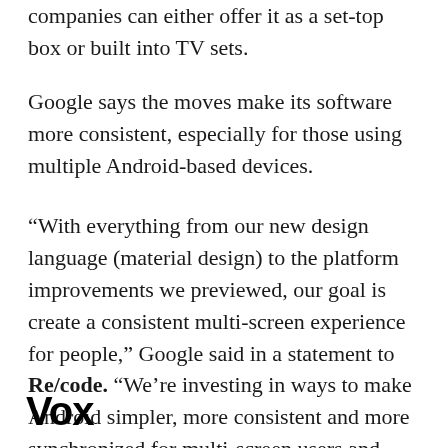companies can either offer it as a set-top box or built into TV sets.
Google says the moves make its software more consistent, especially for those using multiple Android-based devices.
“With everything from our new design language (material design) to the platform improvements we previewed, our goal is create a consistent multi-screen experience for people,” Google said in a statement to Re/code. “We’re investing in ways to make Android simpler, more consistent and more synchronized for multi-screen users and making it easier for developers to scale their apps across new
Vox